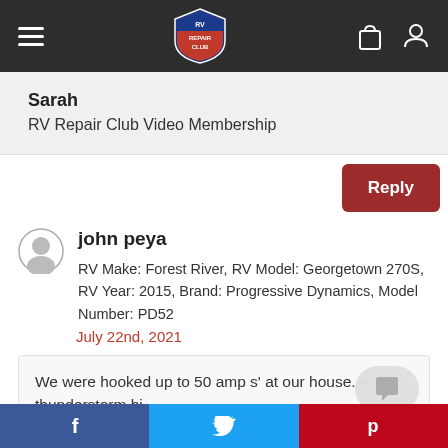RV Repair Club
Sarah
RV Repair Club Video Membership
Reply
john peya
RV Make: Forest River, RV Model: Georgetown 270S, RV Year: 2015, Brand: Progressive Dynamics, Model Number: PD52
July 22nd, 2021
We were hooked up to 50 amp s' at our house. A thunderstorm hi...